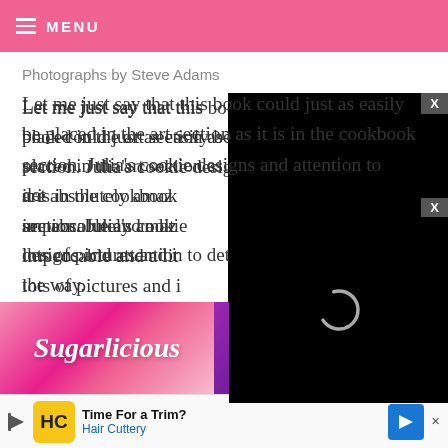MENU
Photographs by Steve Adams
Let me just say that this book could just as easily be placed in the art section as it is in the cookbook section. Julia's cookie designs and attention to detail are absolutely amaz[ing...] impeccable and a lit[tle...] lots of pictures and i[nstructions along] the way.
[Figure (screenshot): Black video overlay with loading spinner and close X button]
[Figure (photo): Book cover strip showing 'Sugarlicious' text on pink gradient background (left) and purple background with spoons (right), with close X button]
[Figure (other): Advertisement bar: Time For a Trim? Hair Cuttery with yellow HC logo and blue arrow]